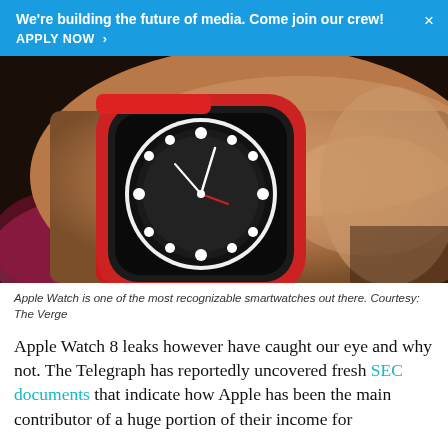We're building the future of media. Come join our crew! APPLY NOW >
[Figure (photo): Close-up photo of an Apple Watch with red band on a person's wrist, showing a watch face with a compass/GMT style dark dial and white dot hour markers.]
Apple Watch is one of the most recognizable smartwatches out there. Courtesy: The Verge
Apple Watch 8 leaks however have caught our eye and why not. The Telegraph has reportedly uncovered fresh SEC documents that indicate how Apple has been the main contributor of a huge portion of their income for